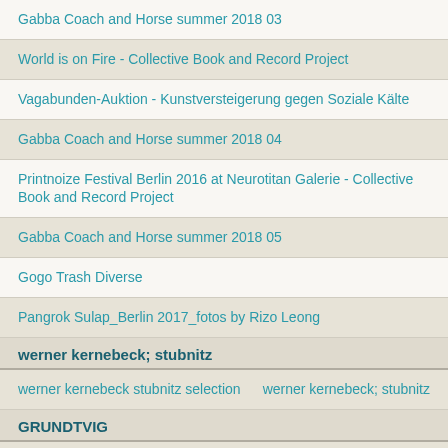Gabba Coach and Horse summer 2018 03
World is on Fire - Collective Book and Record Project
Vagabunden-Auktion - Kunstversteigerung gegen Soziale Kälte
Gabba Coach and Horse summer 2018 04
Printnoize Festival Berlin 2016 at Neurotitan Galerie - Collective Book and Record Project
Gabba Coach and Horse summer 2018 05
Gogo Trash Diverse
Pangrok Sulap_Berlin 2017_fotos by Rizo Leong
werner kernebeck; stubnitz
werner kernebeck stubnitz selection    werner kernebeck; stubnitz
GRUNDTVIG
Schwarm Day 4    GRUNDTVIG
treffen Stubnitz    GRUNDTVIG
Climb Every Mountain - the Schwarm Aftermath    GRUNDTVIG